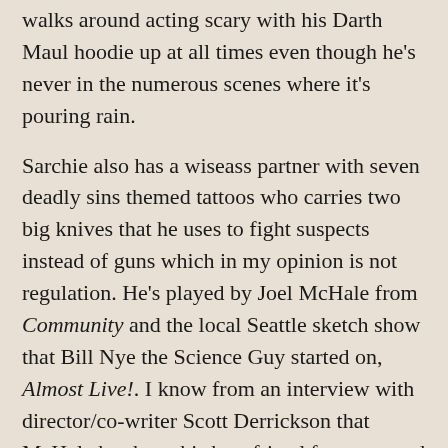walks around acting scary with his Darth Maul hoodie up at all times even though he's never in the numerous scenes where it's pouring rain.
Sarchie also has a wiseass partner with seven deadly sins themed tattoos who carries two big knives that he uses to fight suspects instead of guns which in my opinion is not regulation. He's played by Joel McHale from Community and the local Seattle sketch show that Bill Nye the Science Guy started on, Almost Live!. I know from an interview with director/co-writer Scott Derrickson that McHale has been his best friend for years and supposedly this character is more like the real him than anything he's ever played. Apparently he really is obsessed with knives and maybe even wears a backwards baseball hat and sleeveless shirts all the